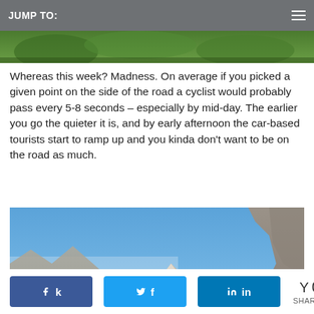JUMP TO:
[Figure (photo): Partial top strip of a photo, showing green vegetation/trees]
Whereas this week? Madness. On average if you picked a given point on the side of the road a cyclist would probably pass every 5-8 seconds – especially by mid-day. The earlier you go the quieter it is, and by early afternoon the car-based tourists start to ramp up and you kinda don't want to be on the road as much.
[Figure (photo): Mountain landscape in Mallorca with rocky peaks, green vegetation, and a welcome sign reading BIENVENIDOS A / WELCOME TO / BIENVENUE A / FORMENTOR with stickers on a dark background]
k  f  in  Y 0 SHARES